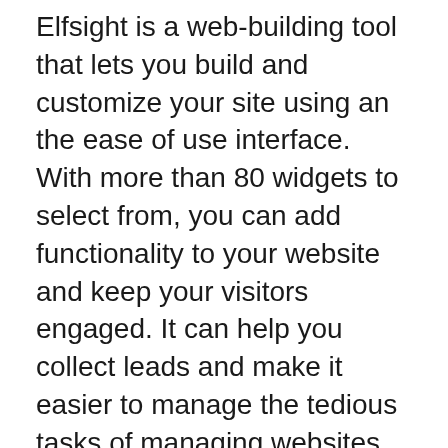Elfsight is a web-building tool that lets you build and customize your site using an the ease of use interface. With more than 80 widgets to select from, you can add functionality to your website and keep your visitors engaged. It can help you collect leads and make it easier to manage the tedious tasks of managing websites. Furthermore, Elfsight lets you create social share buttons and widgets that connect visitors to their social networks.
The platform offers free lifetime support, more than 60 widgets and seamless integrations that can enable you to personalize your website. The Elfsight team also offers live chat support that provides solutions and will help you install the code.